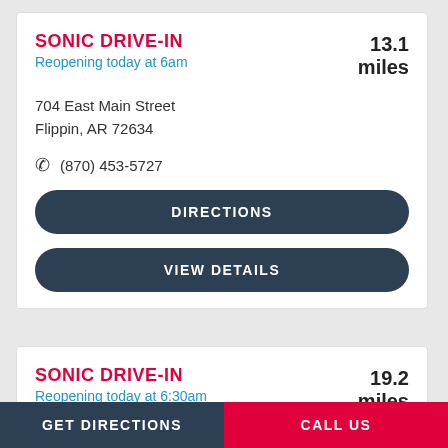SONIC DRIVE-IN
Reopening today at 6am
13.1 miles
704 East Main Street
Flippin, AR 72634
(870) 453-5727
DIRECTIONS
VIEW DETAILS
SONIC DRIVE-IN
Reopening today at 6:30am
19.2 miles
404 Highway 62 East
GET DIRECTIONS   CALL US